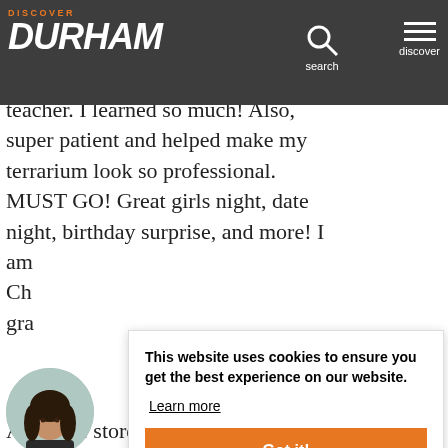Discover Durham
time. The selection of succulents (the workshop I did) was amazing. Megan was an AMAZING teacher. I learned so much! Also, super patient and helped make my terrarium look so professional. MUST GO! Great girls night, date night, birthday surprise, and more! I am Ch gra
[Figure (photo): Profile photo of a woman with dark hair]
This website uses cookies to ensure you get the best experience on our website.
Learn more
Got it!
Adorable store with great prices. We